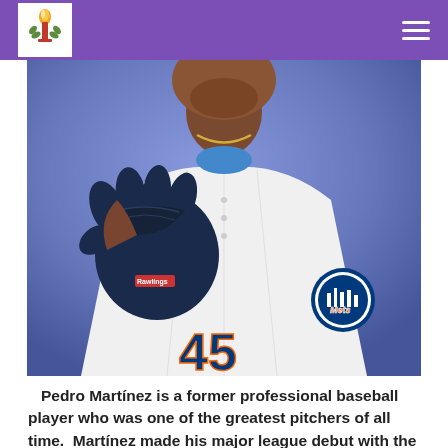[Figure (photo): Pedro Martínez in a New York Mets white uniform, number 45, holding a dark blue baseball glove up near his chest, with a blue/purple studio background.]
Pedro Martínez is a former professional baseball player who was one of the greatest pitchers of all time.  Martínez made his major league debut with the LA Dodgers in 1992. In 1993 he was traded to the